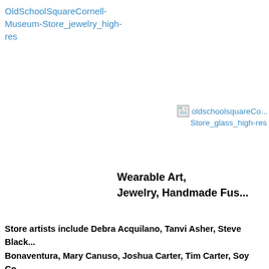OldSchoolSquareCornell-Museum-Store_jewelry_high-res
[Figure (other): Broken image placeholder with link text: oldschoolsquareCo...Store_glass_high-res]
Wearable Art,
Jewelry, Handmade Fus...
Store artists include Debra Acquilano, Tanvi Asher, Steve Black... Bonaventura, Mary Canuso, Joshua Carter, Tim Carter, Soy Co... Eskesen, Barb Fernandez, Natalie Gagliano, Tiny Gang, Noah G... Gotta, Marquee Gotta, Colleen Glazer, Mike Goldberg, Carla Col...